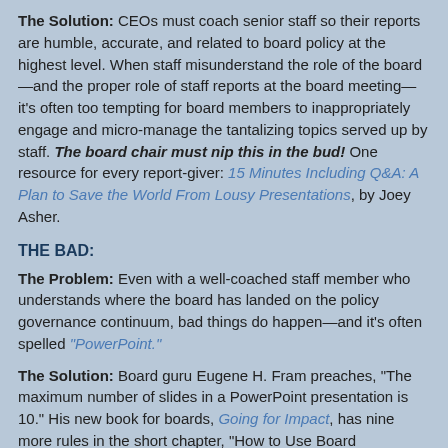The Solution: CEOs must coach senior staff so their reports are humble, accurate, and related to board policy at the highest level. When staff misunderstand the role of the board—and the proper role of staff reports at the board meeting—it's often too tempting for board members to inappropriately engage and micro-manage the tantalizing topics served up by staff. The board chair must nip this in the bud! One resource for every report-giver: 15 Minutes Including Q&A: A Plan to Save the World From Lousy Presentations, by Joey Asher.
THE BAD:
The Problem: Even with a well-coached staff member who understands where the board has landed on the policy governance continuum, bad things do happen—and it's often spelled "PowerPoint."
The Solution: Board guru Eugene H. Fram preaches, "The maximum number of slides in a PowerPoint presentation is 10." His new book for boards, Going for Impact, has nine more rules in the short chapter, "How to Use Board